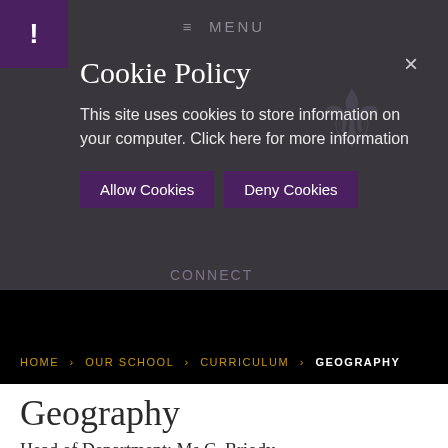≡ MENU
Cookie Policy
This site uses cookies to store information on your computer. Click here for more information
Allow Cookies   Deny Cookies
HOME › OUR SCHOOL › CURRICULUM › GEOGRAPHY
Geography
Head of Department: Ms C. Briody